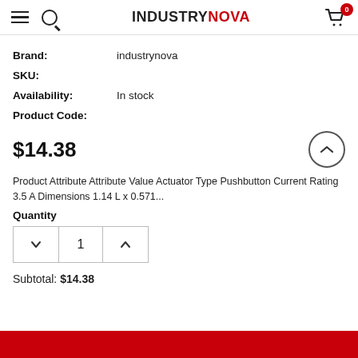INDUSTRYNOVA
Brand: industrynova
SKU:
Availability: In stock
Product Code:
$14.38
Product Attribute Attribute Value Actuator Type Pushbutton Current Rating 3.5 A Dimensions 1.14 L x 0.571...
Quantity
Subtotal: $14.38